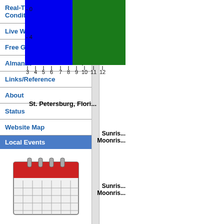Real-Time Traffic Conditions
Live Webcams
Free Games
Almanac
Links/Reference
About
Status
Website Map
Local Events
[Figure (illustration): Calendar icon with red top bar and grid of dates]
Weather Graphics
[Figure (illustration): Orange banner reading FREE WEATHER STICKERS in bold italic black text]
[Figure (bar-chart): Bar chart showing values from 3 to 12 on x-axis, with y-axis showing 0 and -4. Blue bars on left (3-6), green bars on right (7-12).]
St. Petersburg, Flori…
Sunris…
Moonris…
Sunris…
Moonris…